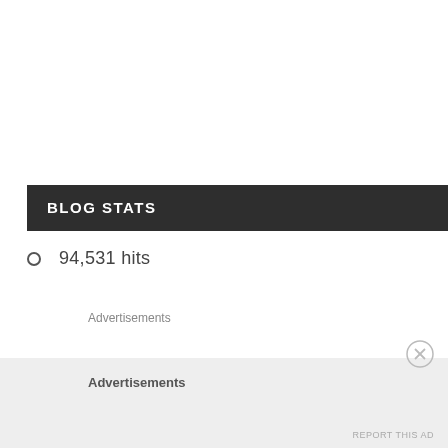BLOG STATS
94,531 hits
Advertisements
Advertisements
REPORT THIS AD